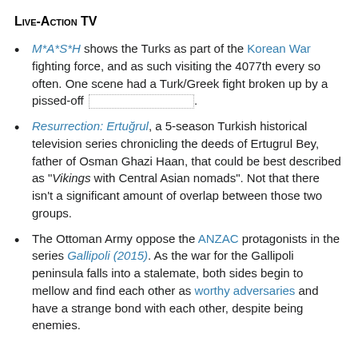Live-Action TV
M*A*S*H shows the Turks as part of the Korean War fighting force, and as such visiting the 4077th every so often. One scene had a Turk/Greek fight broken up by a pissed-off [redacted].
Resurrection: Ertuğrul, a 5-season Turkish historical television series chronicling the deeds of Ertugrul Bey, father of Osman Ghazi Haan, that could be best described as "Vikings with Central Asian nomads". Not that there isn't a significant amount of overlap between those two groups.
The Ottoman Army oppose the ANZAC protagonists in the series Gallipoli (2015). As the war for the Gallipoli peninsula falls into a stalemate, both sides begin to mellow and find each other as worthy adversaries and have a strange bond with each other, despite being enemies.